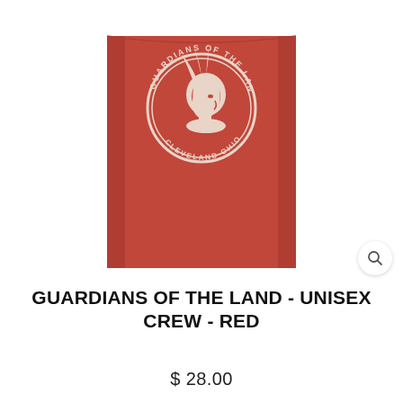[Figure (photo): A folded red crew neck t-shirt displayed flat on a white background. The shirt features a circular graphic on the chest with a Native American profile portrait and the text 'GUARDIANS OF THE LAND' and 'CLEVELAND OHIO' around the circle in white on red.]
GUARDIANS OF THE LAND - UNISEX CREW - RED
$ 28.00